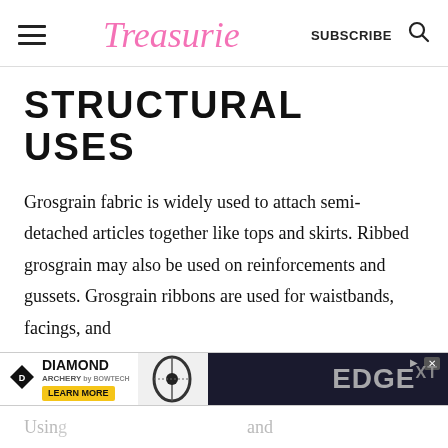Treasurie | SUBSCRIBE
STRUCTURAL USES
Grosgrain fabric is widely used to attach semi-detached articles together like tops and skirts. Ribbed grosgrain may also be used on reinforcements and gussets. Grosgrain ribbons are used for waistbands, facings, and more. Using...and
[Figure (advertisement): Diamond Archery advertisement banner with EDGE XT product text overlay]
Usin...and